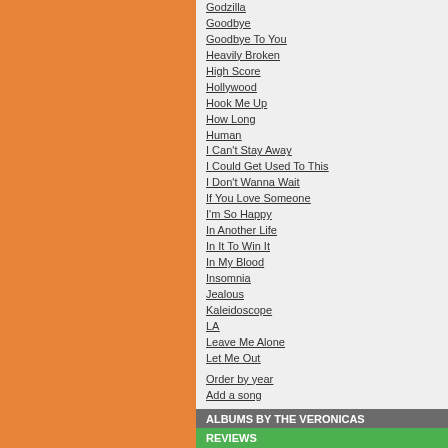Godzilla
Goodbye
Goodbye To You
Heavily Broken
High Score
Hollywood
Hook Me Up
How Long
Human
I Can't Stay Away
I Could Get Used To This
I Don't Wanna Wait
If You Love Someone
I'm So Happy
In Another Life
In It To Win It
In My Blood
Insomnia
Jealous
Kaleidoscope
LA
Leave Me Alone
Let Me Out
Order by year
Add a song
ALBUMS BY THE VERONICAS
Godzilla
Hook Me Up
Human
Add an album
REVIEWS